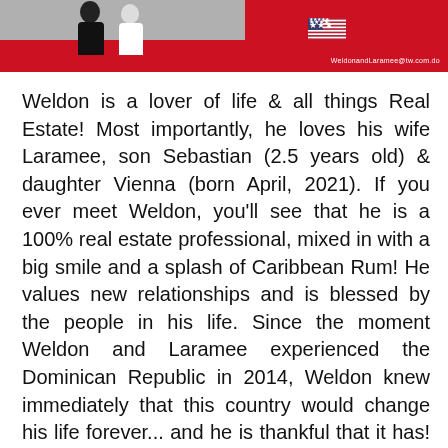[Figure (photo): Banner with photo of two people on the left over a red background, an American flag icon in the center-right, and an email address (WeldonandLaramee@tw.com.do) in white text on the bottom right.]
Weldon is a lover of life & all things Real Estate! Most importantly, he loves his wife Laramee, son Sebastian (2.5 years old) & daughter Vienna (born April, 2021). If you ever meet Weldon, you'll see that he is a 100% real estate professional, mixed in with a big smile and a splash of Caribbean Rum! He values new relationships and is blessed by the people in his life. Since the moment Weldon and Laramee experienced the Dominican Republic in 2014, Weldon knew immediately that this country would change his life forever... and he is thankful that it has! Weldon enjoys learning from others and values the wisdom of the people around him.